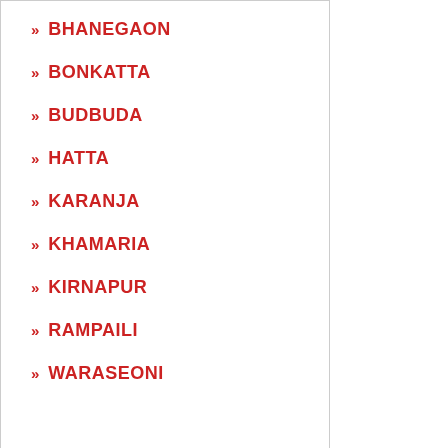» BHANEGAON
» BONKATTA
» BUDBUDA
» HATTA
» KARANJA
» KHAMARIA
» KIRNAPUR
» RAMPAILI
» WARASEONI
» Allahabad Bank
» Axis Bank
» Bank Of Baroda